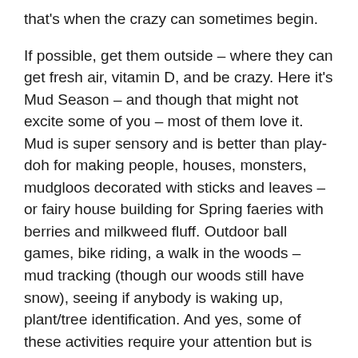that's when the crazy can sometimes begin.
If possible, get them outside – where they can get fresh air, vitamin D, and be crazy. Here it's Mud Season – and though that might not excite some of you – most of them love it. Mud is super sensory and is better than play-doh for making people, houses, monsters, mudgloos decorated with sticks and leaves – or fairy house building for Spring faeries with berries and milkweed fluff. Outdoor ball games, bike riding, a walk in the woods – mud tracking (though our woods still have snow), seeing if anybody is waking up, plant/tree identification. And yes, some of these activities require your attention but is that such a bad thing – with all the crazy, you could probably use a little play and fresh air, too.